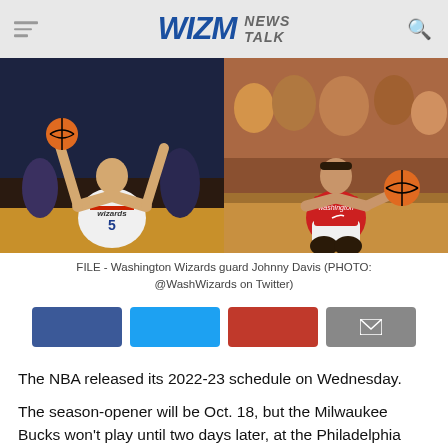WIZM NEWS TALK
[Figure (photo): Two side-by-side photos of Washington Wizards guard Johnny Davis. Left: player in white Wizards #5 jersey shooting. Right: player in red Washington warm-up gear holding a basketball.]
FILE - Washington Wizards guard Johnny Davis (PHOTO: @WashWizards on Twitter)
[Figure (infographic): Social sharing buttons: Facebook (blue), Twitter (light blue), Google+/Pinterest (red), Email (gray with envelope icon)]
The NBA released its 2022-23 schedule on Wednesday.
The season-opener will be Oct. 18, but the Milwaukee Bucks won't play until two days later, at the Philadelphia 76ers.